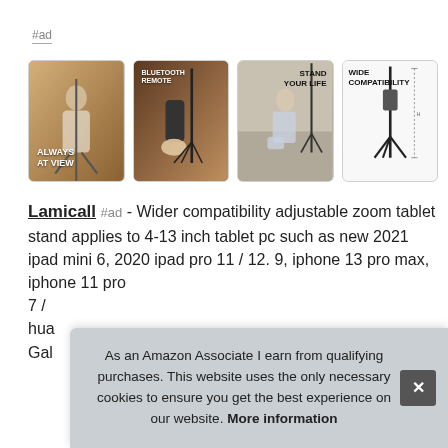#ad
[Figure (photo): Four product images of Lamicall tablet/phone tripod stand showing: 1) Woman sitting on sofa with text 'ALWAYS AT VIEW', 2) Hand holding remote with text 'BLUETOOTH REMOTE', 3) Woman kneeling with text 'STAND YOUR LIFE', 4) Product diagram with text 'WIDE COMPATIBILITY']
Lamicall #ad - Wider compatibility adjustable zoom tablet stand applies to 4-13 inch tablet pc such as new 2021 ipad mini 6, 2020 ipad pro 11 / 12. 9, iphone 13 pro max, iphone 11 pro 7 / ... hua... Gala...
As an Amazon Associate I earn from qualifying purchases. This website uses the only necessary cookies to ensure you get the best experience on our website. More information